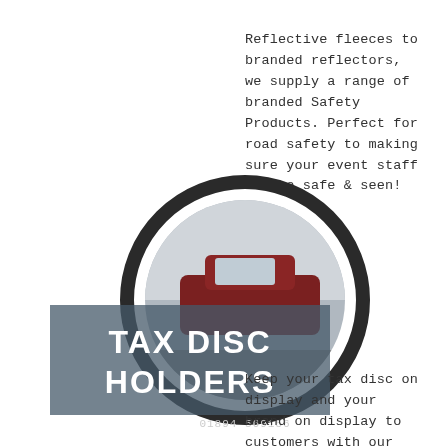Reflective fleeces to branded reflectors, we supply a range of branded Safety Products. Perfect for road safety to making sure your event staff can be safe & seen!
[Figure (illustration): A circular tax disc holder image with a car photo inside, overlaid with a dark semi-transparent banner reading 'TAX DISC HOLDERS' and a phone number '01894 569156'. The circle has a thick dark ring border.]
Keep your tax disc on display and your brand on display to customers with our promotional Tax Disc